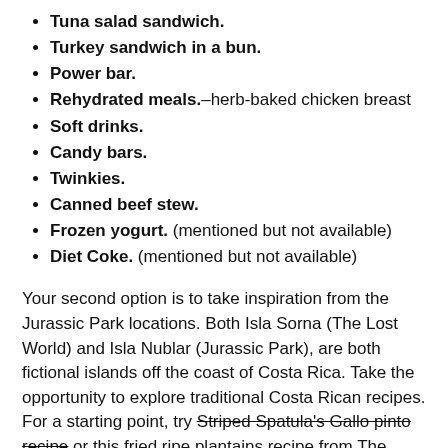Tuna salad sandwich.
Turkey sandwich in a bun.
Power bar.
Rehydrated meals.–herb-baked chicken breast
Soft drinks.
Candy bars.
Twinkies.
Canned beef stew.
Frozen yogurt. (mentioned but not available)
Diet Coke. (mentioned but not available)
Your second option is to take inspiration from the Jurassic Park locations. Both Isla Sorna (The Lost World) and Isla Nublar (Jurassic Park), are both fictional islands off the coast of Costa Rica. Take the opportunity to explore traditional Costa Rican recipes. For a starting point, try Striped Spatula's Gallo pinto recipe or this fried ripe plantains recipe from The Spruce